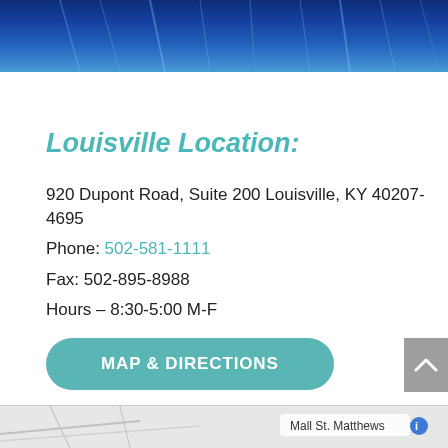[Figure (photo): Dark blue banner image at top of page]
Louisville Location:
920 Dupont Road, Suite 200 Louisville, KY 40207-4695
Phone: 502-581-1111
Fax: 502-895-8988
Hours – 8:30-5:00 M-F
[Figure (other): MAP & DIRECTIONS button]
[Figure (map): Map strip showing Mall St. Matthews area]